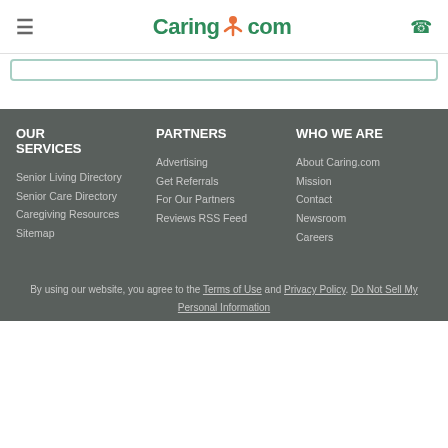≡  Caring.com  📞
OUR SERVICES
PARTNERS
WHO WE ARE
Senior Living Directory
Senior Care Directory
Caregiving Resources
Sitemap
Advertising
Get Referrals
For Our Partners
Reviews RSS Feed
About Caring.com
Mission
Contact
Newsroom
Careers
By using our website, you agree to the Terms of Use and Privacy Policy. Do Not Sell My Personal Information